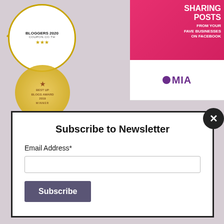[Figure (illustration): Award badge: BLOGGERS 2020, COUPON.CO.TH with stars and gold laurel wreath, plus a gold seal award in background]
[Figure (illustration): Advertisement banner: SHARING POSTS FROM YOUR FAVE BUSINESSES ON FACEBOOK with woman on phone, and MIA logo below]
[Figure (illustration): Close button (X) black circle in top right of modal]
Subscribe to Newsletter
Email Address*
Subscribe
© Copyright 2012 - 2022 | Dan About Thailand | All Rights Reserved